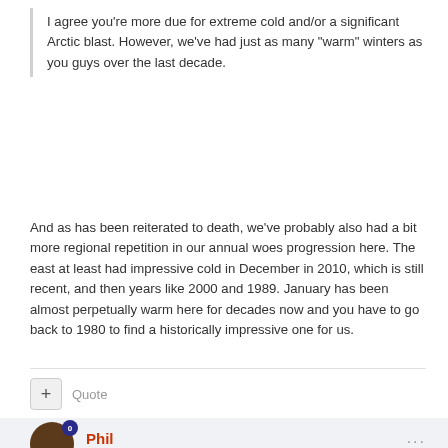I agree you're more due for extreme cold and/or a significant Arctic blast. However, we've had just as many "warm" winters as you guys over the last decade.
And as has been reiterated to death, we've probably also had a bit more regional repetition in our annual woes progression here. The east at least had impressive cold in December in 2010, which is still recent, and then years like 2000 and 1989. January has been almost perpetually warm here for decades now and you have to go back to 1980 to find a historically impressive one for us.
Quote
Phil
Posted September 29, 2016